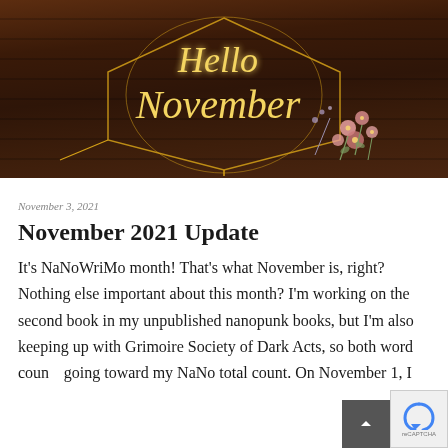[Figure (illustration): Dark wood background with golden geometric hexagon frame and glowing golden script text reading 'Hello November', with pink flowers and decorative botanical elements in lower right corner.]
November 3, 2021
November 2021 Update
It's NaNoWriMo month! That's what November is, right? Nothing else important about this month? I'm working on the second book in my unpublished nanopunk books, but I'm also keeping up with Grimoire Society of Dark Acts, so both word counts going toward my NaNo total count. On November 1, I